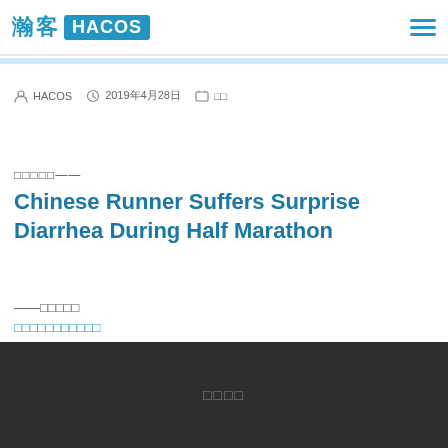瀚客 HACOS
HACOS  2019年4月28日  □□
□□□□□——
Chinese Runner Suffers Surprise Diarrhea During Half Marathon
——□□□□□
□□□□□□□□□□□
□□□□